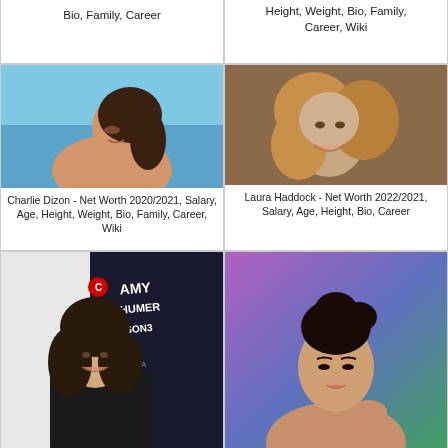Bio, Family, Career
Height, Weight, Bio, Family, Career, Wiki
[Figure (photo): Charlie Dizon photo at beach]
Charlie Dizon - Net Worth 2020/2021, Salary, Age, Height, Weight, Bio, Family, Career, Wiki
[Figure (photo): Laura Haddock portrait photo]
Laura Haddock - Net Worth 2022/2021, Salary, Age, Height, Bio, Career
[Figure (photo): Woman at Amy Schumer Season 3 event]
[Figure (photo): Asian woman portrait photo]